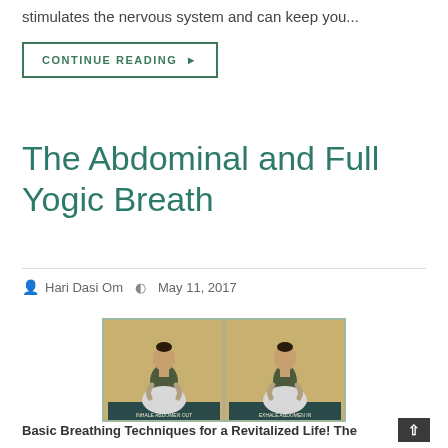stimulates the nervous system and can keep you...
CONTINUE READING ▶
The Abdominal and Full Yogic Breath
Hari Dasi Om   May 11, 2017
[Figure (photo): Two side-by-side images of a woman in seated yoga pose demonstrating abdominal breathing, labeled 'INHALE ABDOMEN OUT' and 'EXHALE ABDOMEN IN']
Basic Breathing Techniques for a Revitalized Life! The